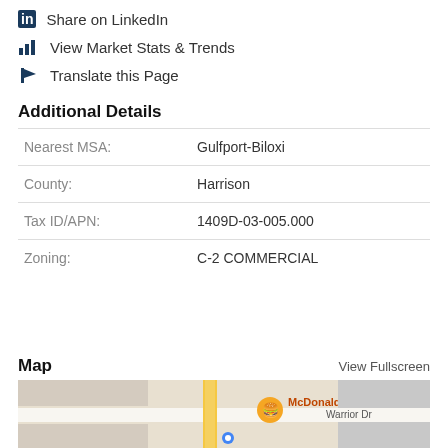Share on LinkedIn
View Market Stats & Trends
Translate this Page
Additional Details
|  |  |
| --- | --- |
| Nearest MSA: | Gulfport-Biloxi |
| County: | Harrison |
| Tax ID/APN: | 1409D-03-005.000 |
| Zoning: | C-2 COMMERCIAL |
Map
View Fullscreen
[Figure (map): Street map showing McDonald's location on Warrior Dr]